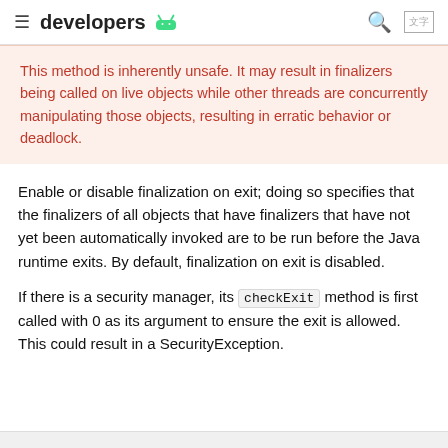developers [Android logo]
This method is inherently unsafe. It may result in finalizers being called on live objects while other threads are concurrently manipulating those objects, resulting in erratic behavior or deadlock.
Enable or disable finalization on exit; doing so specifies that the finalizers of all objects that have finalizers that have not yet been automatically invoked are to be run before the Java runtime exits. By default, finalization on exit is disabled.
If there is a security manager, its checkExit method is first called with 0 as its argument to ensure the exit is allowed. This could result in a SecurityException.